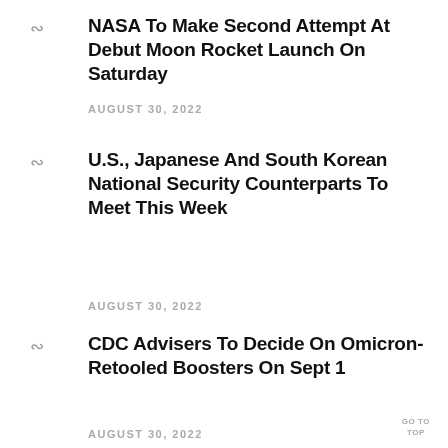NASA To Make Second Attempt At Debut Moon Rocket Launch On Saturday
AUGUST 30, 2022
U.S., Japanese And South Korean National Security Counterparts To Meet This Week
AUGUST 30, 2022
CDC Advisers To Decide On Omicron-Retooled Boosters On Sept 1
AUGUST 30, 2022
GO TO TOP